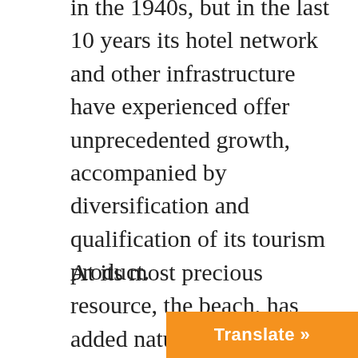in the 1940s, but in the last 10 years its hotel network and other infrastructure have experienced offer unprecedented growth, accompanied by diversification and qualification of its tourism product.
At its most precious resource, the beach, has added natural attractions such as caves and escarpments, a string of virgin keys and easy access to the riches of a characteristic natural landscape is preserved in the eastern portion of the territory, and other cultural, historical and environmental character closely associated with the cities of Matanzas and Cárdenas, the Zapata Peninsula and the reso...